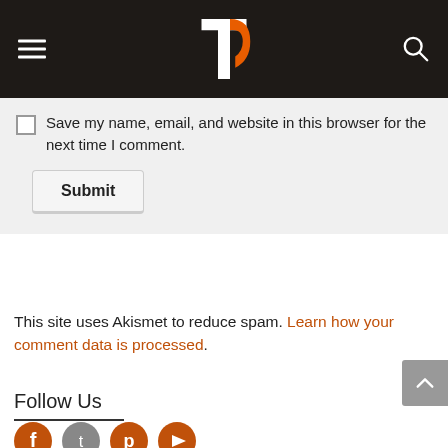Site header with logo and navigation
Save my name, email, and website in this browser for the next time I comment.
Submit
This site uses Akismet to reduce spam. Learn how your comment data is processed.
Follow Us
[Figure (other): Social media icons row: orange circular icons for multiple platforms]